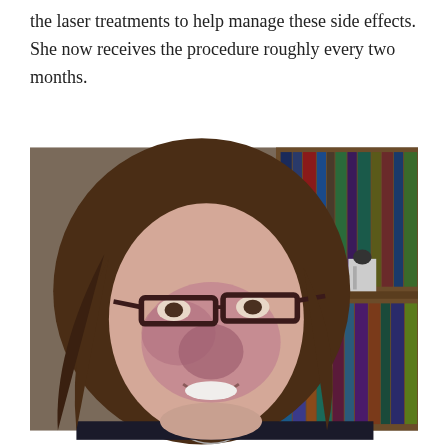the laser treatments to help manage these side effects. She now receives the procedure roughly every two months.
[Figure (photo): A smiling young woman with brown hair and dark-rimmed rectangular glasses. She has a visible port-wine stain birthmark on her face, particularly around her nose and cheeks. In the background are bookshelves with various books.]